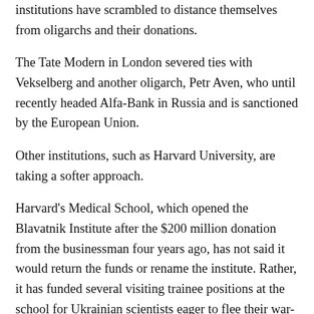institutions have scrambled to distance themselves from oligarchs and their donations.
The Tate Modern in London severed ties with Vekselberg and another oligarch, Petr Aven, who until recently headed Alfa-Bank in Russia and is sanctioned by the European Union.
Other institutions, such as Harvard University, are taking a softer approach.
Harvard's Medical School, which opened the Blavatnik Institute after the $200 million donation from the businessman four years ago, has not said it would return the funds or rename the institute. Rather, it has funded several visiting trainee positions at the school for Ukrainian scientists eager to flee their war-torn country.